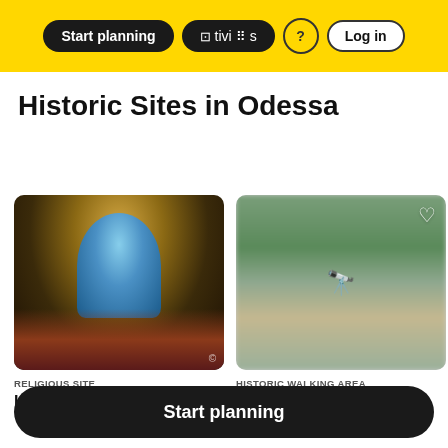Start planning | & Activities | ? | Log in
Historic Sites in Odessa
[Figure (photo): Interior of Holy Assumption Cathedral showing ornate iconostasis with gold decorations and blue central panel]
RELIGIOUS SITE
Holy Assumption Cathedral
[Figure (photo): Blurred outdoor photo of 10 Apryelya Square historic walking area with binoculars icon overlay]
HISTORIC WALKING AREA
10 Apryelya Square
★★★★★ 5.0
Start planning